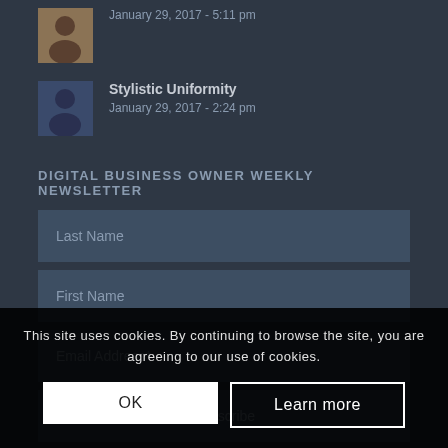January 29, 2017 - 5:11 pm
Stylistic Uniformity
January 29, 2017 - 2:24 pm
DIGITAL BUSINESS OWNER WEEKLY NEWSLETTER
Last Name
First Name
Email Address*
Subscribe
This site uses cookies. By continuing to browse the site, you are agreeing to our use of cookies.
OK
Learn more